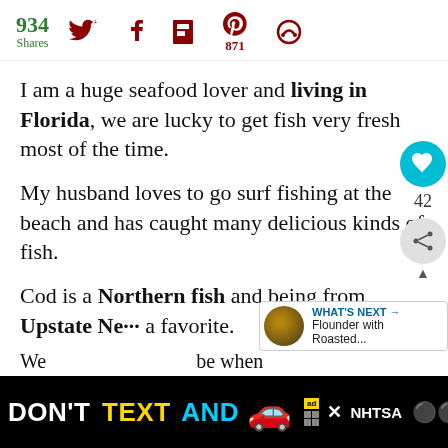934 Shares [social icons: Twitter, Facebook, Flipboard, Pinterest 871, other]
I am a huge seafood lover and living in Florida, we are lucky to get fish very fresh most of the time.
My husband loves to go surf fishing at the beach and has caught many delicious kinds of fish.
Cod is a Northern fish and being from Upstate Ne... a favorite.
[Figure (screenshot): Floating sidebar with heart icon (teal circle, heart symbol), count 42, share icon]
[Figure (screenshot): What's Next panel with thumbnail and text: Flounder with Roasted...]
[Figure (screenshot): Bottom ad banner: DON'T TEXT AND [car emoji] NHTSA ad with close button and weather channel logo. Partial text below: We ... be when he g...]